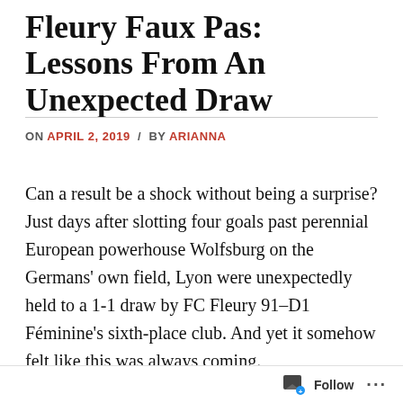Fleury Faux Pas: Lessons From An Unexpected Draw
ON APRIL 2, 2019 / BY ARIANNA
Can a result be a shock without being a surprise? Just days after slotting four goals past perennial European powerhouse Wolfsburg on the Germans' own field, Lyon were unexpectedly held to a 1-1 draw by FC Fleury 91–D1 Féminine's sixth-place club. And yet it somehow felt like this was always coming.
For a team as overwhelmingly dominant as Lyon, with